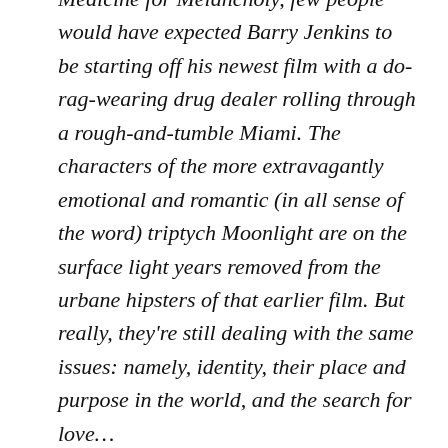Medicine for Melancholy, few people would have expected Barry Jenkins to be starting off his newest film with a do-rag-wearing drug dealer rolling through a rough-and-tumble Miami. The characters of the more extravagantly emotional and romantic (in all sense of the word) triptych Moonlight are on the surface light years removed from the urbane hipsters of that earlier film. But really, they're still dealing with the same issues: namely, identity, their place and purpose in the world, and the search for love…